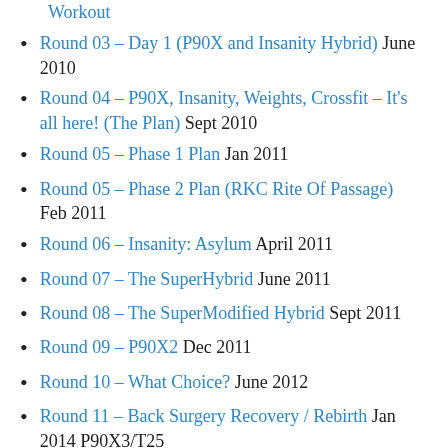Round 03 – Day 1 (P90X and Insanity Hybrid) June 2010
Round 04 – P90X, Insanity, Weights, Crossfit – It's all here! (The Plan) Sept 2010
Round 05 – Phase 1 Plan Jan 2011
Round 05 – Phase 2 Plan (RKC Rite Of Passage) Feb 2011
Round 06 – Insanity: Asylum April 2011
Round 07 – The SuperHybrid June 2011
Round 08 – The SuperModified Hybrid Sept 2011
Round 09 – P90X2 Dec 2011
Round 10 – What Choice? June 2012
Round 11 – Back Surgery Recovery / Rebirth Jan 2014 P90X3/T25
Round 12 – Summer 2014 Complete Bust!